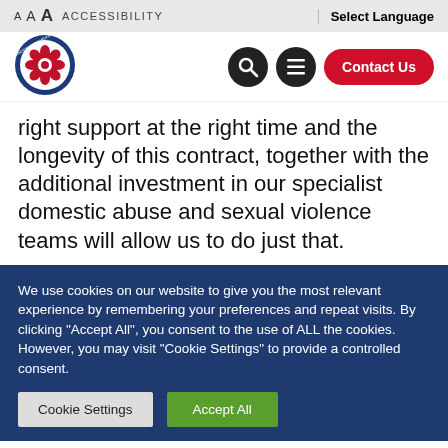A A A ACCESSIBILITY   Select Language
[Figure (logo): Andrew Snowden Lancashire Police and Crime Commissioner circular logo with red rose emblem]
right support at the right time and the longevity of this contract, together with the additional investment in our specialist domestic abuse and sexual violence teams will allow us to do just that.
We use cookies on our website to give you the most relevant experience by remembering your preferences and repeat visits. By clicking "Accept All", you consent to the use of ALL the cookies. However, you may visit "Cookie Settings" to provide a controlled consent.